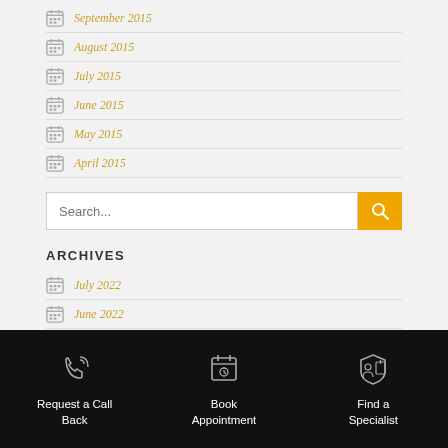September 2015
August 2015
July 2015
June 2015
May 2015
April 2015
[Figure (other): Search input box with yellow search button]
ARCHIVES
July 2022
June 2022
May 2022
[Figure (other): Footer with three icons: Request a Call Back, Book Appointment, Find a Specialist]